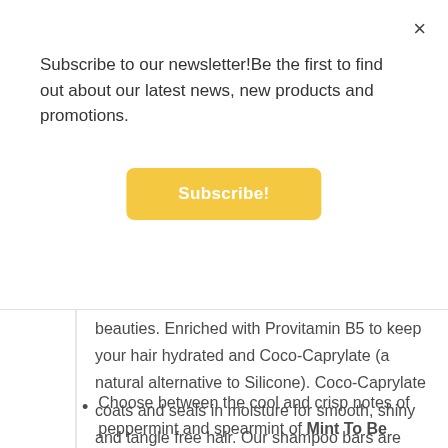×
Subscribe to our newsletter!Be the first to find out about our latest news, new products and promotions.
Subscribe!
beauties. Enriched with Provitamin B5 to keep your hair hydrated and Coco-Caprylate (a natural alternative to Silicone). Coco-Caprylate coats and seals in moisture for smooth, shiny and tangle free hair. Our shampoo bars are concentrated and are equivalent to 3 bottle of shampoo. Perfect to normal to dry hair types.
Choose between the cool and crisp notes of peppermint and spearmint of Mint To Be which is wonderfully